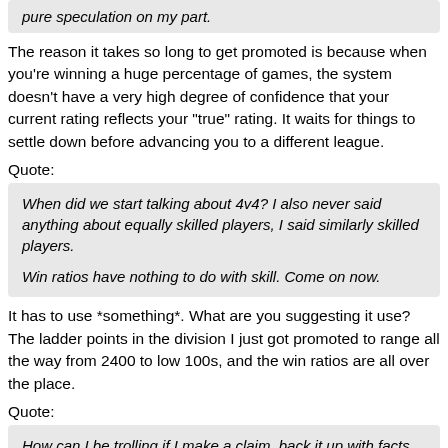pure speculation on my part.
The reason it takes so long to get promoted is because when you're winning a huge percentage of games, the system doesn't have a very high degree of confidence that your current rating reflects your "true" rating. It waits for things to settle down before advancing you to a different league.
Quote:
When did we start talking about 4v4? I also never said anything about equally skilled players, I said similarly skilled players.

Win ratios have nothing to do with skill. Come on now.
It has to use *something*. What are you suggesting it use? The ladder points in the division I just got promoted to range all the way from 2400 to low 100s, and the win ratios are all over the place.
Quote:
How can I be trolling if I make a claim, back it up with facts and then ask you to do the same only to have you